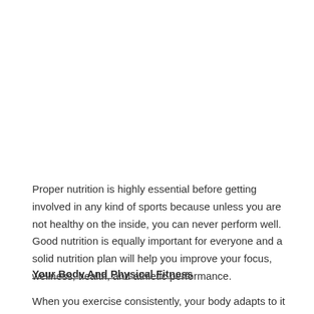Proper nutrition is highly essential before getting involved in any kind of sports because unless you are not healthy on the inside, you can never perform well. Good nutrition is equally important for everyone and a solid nutrition plan will help you improve your focus, wellness, health, and athletic performance.
Your Body And Physical Fitness
When you exercise consistently, your body adapts to it and